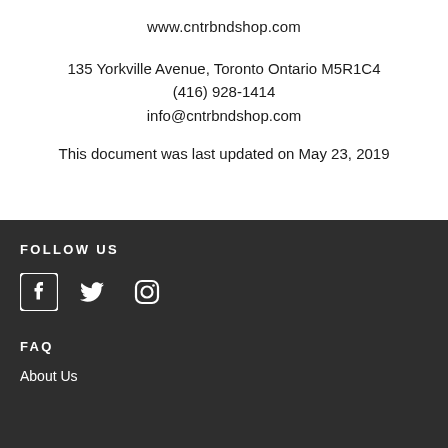www.cntrbndshop.com
135 Yorkville Avenue, Toronto Ontario M5R1C4
(416) 928-1414
info@cntrbndshop.com
This document was last updated on May 23, 2019
FOLLOW US
[Figure (illustration): Social media icons: Facebook, Twitter, Instagram]
FAQ
About Us